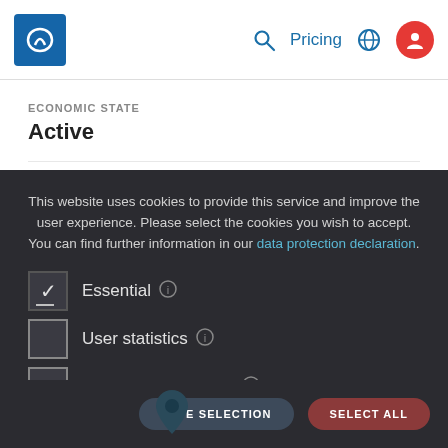[Figure (screenshot): Navigation bar with logo, search icon, Pricing link, globe icon, and user profile icon (red circle)]
ECONOMIC STATE
Active
HISTORICAL NAMES
Hotelentwicklungsgesellschaft Moritzplatz mbH
This website uses cookies to provide this service and improve the user experience. Please select the cookies you wish to accept. You can find further information in our data protection declaration.
Essential
User statistics
Third Party Tracking